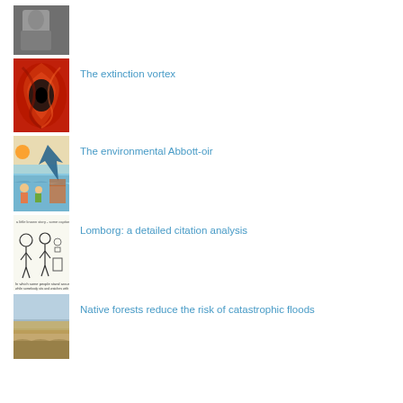[Figure (photo): Black and white photo of a person]
[Figure (photo): Red swirling abstract vortex image]
The extinction vortex
[Figure (illustration): Colorful illustrated scene with people and a fish jumping]
The environmental Abbott-oir
[Figure (illustration): Black and white cartoon/sketch illustration]
Lomborg: a detailed citation analysis
[Figure (photo): Photo of a dry beach or coastal landscape]
Native forests reduce the risk of catastrophic floods